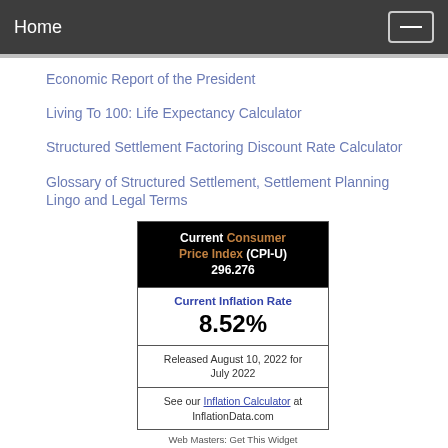Home
Economic Report of the President
Living To 100: Life Expectancy Calculator
Structured Settlement Factoring Discount Rate Calculator
Glossary of Structured Settlement, Settlement Planning Lingo and Legal Terms
| Current Consumer Price Index (CPI-U) 296.276 |
| Current Inflation Rate
8.52% |
| Released August 10, 2022 for July 2022 |
| See our Inflation Calculator at InflationData.com |
Web Masters: Get This Widget
U.S. National Debt Clock: Real Ti...